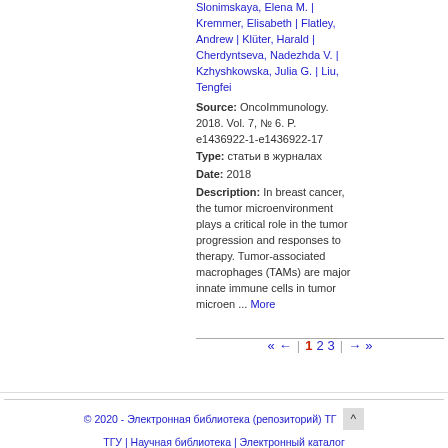Slonimskaya, Elena M. | Kremmer, Elisabeth | Flatley, Andrew | Klüter, Harald | Cherdyntseva, Nadezhda V. | Kzhyshkowska, Julia G. | Liu, Tengfei
Source: OncoImmunology. 2018. Vol. 7, № 6. P. e1436922-1-e1436922-17
Type: статьи в журналах
Date: 2018
Description: In breast cancer, the tumor microenvironment plays a critical role in the tumor progression and responses to therapy. Tumor-associated macrophages (TAMs) are major innate immune cells in tumor microen ... More
« ← | 1 2 3 | → »
© 2020 - Электронная библиотека (репозиторий) ТГУ ^ ТГУ | Научная библиотека | Электронный каталог